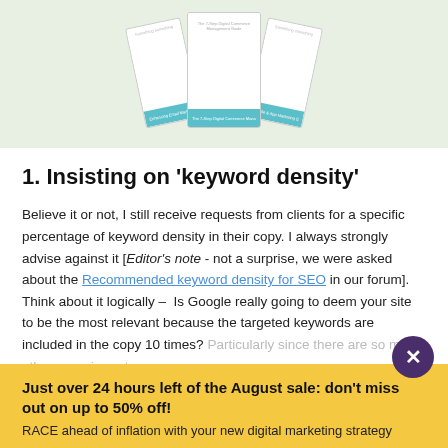[Figure (illustration): Green background illustration showing several white document/book covers fanned out, with teal/blue bottom spines and small text on them.]
1. Insisting on 'keyword density'
Believe it or not, I still receive requests from clients for a specific percentage of keyword density in their copy. I always strongly advise against it [Editor's note - not a surprise, we were asked about the Recommended keyword density for SEO in our forum]. Think about it logically –  Is Google really going to deem your site to be the most relevant because the targeted keywords are included in the copy 10 times? Particularly since there are so many other more importa…
Just over 24 hours left of the August sale: don't miss out on up to 50% off!
RACE ahead of inflation with your new digital marketing strategy